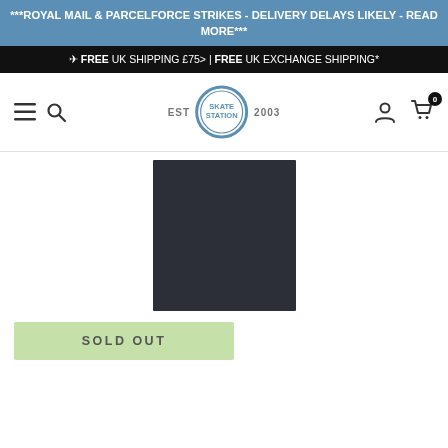***ROYAL MAIL & PARCELFORCE STRIKES - DELIVERY DELAYS LIKELY - READ MORE***
FREE UK SHIPPING £75> | FREE UK EXCHANGE SHIPPING*
[Figure (logo): Skate Station EST 2003 logo in a blue circle, nav bar with hamburger menu, search icon, user icon, and cart icon with badge 0]
[Figure (photo): Dark navy/black rectangular skateboard grip tape product image on white background]
SOLD OUT